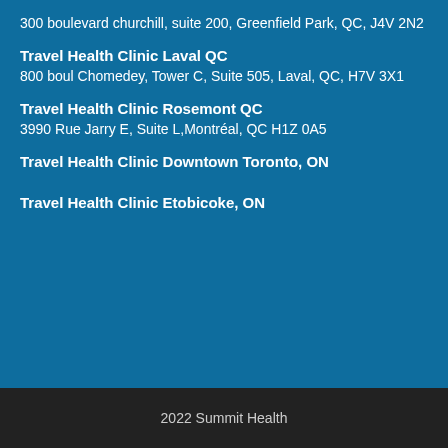300 boulevard churchill, suite 200, Greenfield Park, QC, J4V 2N2
Travel Health Clinic Laval QC
800 boul Chomedey, Tower C, Suite 505, Laval, QC, H7V 3X1
Travel Health Clinic Rosemont QC
3990 Rue Jarry E, Suite L,Montréal, QC H1Z 0A5
Travel Health Clinic Downtown Toronto, ON
Travel Health Clinic Etobicoke, ON
2022 Summit Health